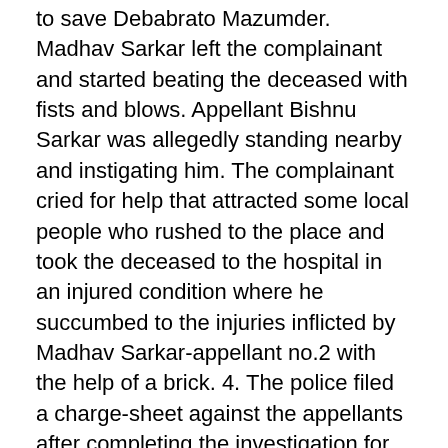to save Debabrato Mazumder. Madhav Sarkar left the complainant and started beating the deceased with fists and blows. Appellant Bishnu Sarkar was allegedly standing nearby and instigating him. The complainant cried for help that attracted some local people who rushed to the place and took the deceased to the hospital in an injured condition where he succumbed to the injuries inflicted by Madhav Sarkar-appellant no.2 with the help of a brick. 4. The police filed a charge-sheet against the appellants after completing the investigation for commission of offences